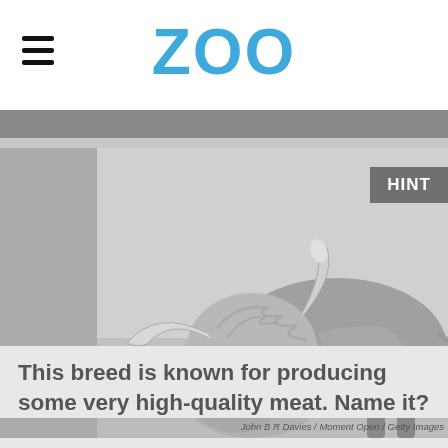ZOO
[Figure (photo): Black and white photograph of a bull (Highland cattle breed) grazing with head lowered to the ground, showing prominent horns and shaggy coat. The image has a desaturated/grey tone.]
John B R Davies / Moment Open / Getty Images
This breed is known for producing some very high-quality meat. Name it?